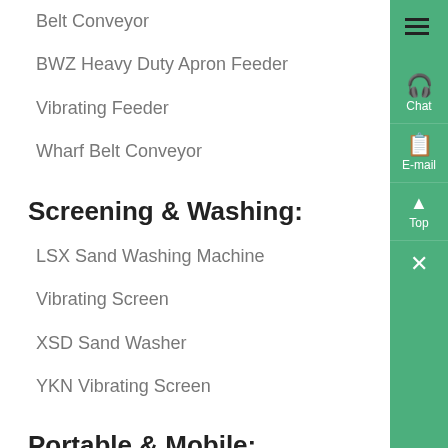Belt Conveyor
BWZ Heavy Duty Apron Feeder
Vibrating Feeder
Wharf Belt Conveyor
Screening & Washing:
LSX Sand Washing Machine
Vibrating Screen
XSD Sand Washer
YKN Vibrating Screen
Portable & Mobile: